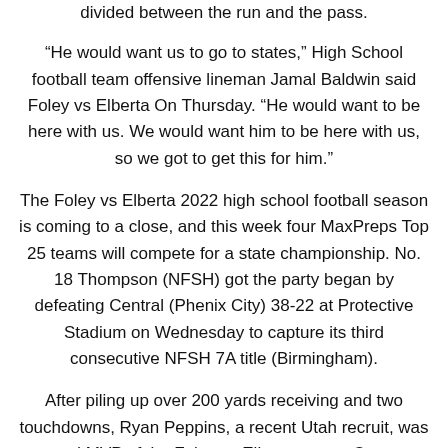divided between the run and the pass.
“He would want us to go to states,” High School football team offensive lineman Jamal Baldwin said Foley vs Elberta On Thursday. “He would want to be here with us. We would want him to be here with us, so we got to get this for him.”
The Foley vs Elberta 2022 high school football season is coming to a close, and this week four MaxPreps Top 25 teams will compete for a state championship. No. 18 Thompson (NFSH) got the party began by defeating Central (Phenix City) 38-22 at Protective Stadium on Wednesday to capture its third consecutive NFSH 7A title (Birmingham).
After piling up over 200 yards receiving and two touchdowns, Ryan Peppins, a recent Utah recruit, was voted MVP of the Foley vs Elberta game. Conner Harrell, a North Carolina commit, exited the game early due to an injury, but returned